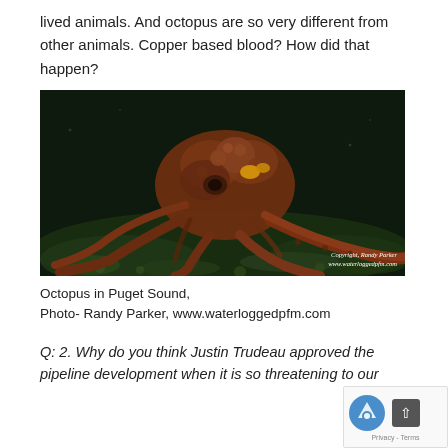lived animals. And octopus are so very different from other animals. Copper based blood? How did that happen?
[Figure (photo): Underwater photograph of an octopus on the seafloor in Puget Sound, reddish-brown coloration, resting on green algae-covered rocks. Photo credit: Copyright, Randy Parker, www.waterloggedpfm.com]
Octopus in Puget Sound,
Photo- Randy Parker, www.waterloggedpfm.com
Q: 2. Why do you think Justin Trudeau approved the pipeline development when it is so threatening to our